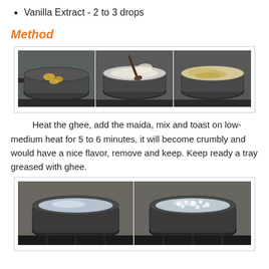Vanilla Extract - 2 to 3 drops
Method
[Figure (photo): Three-panel photo showing cooking steps: ghee melting in a pan, flour being mixed in, and the flour toasted crumbly in the pan.]
Heat the ghee, add the maida, mix and toast on low-medium heat for 5 to 6 minutes, it will become crumbly and would have a nice flavor, remove and keep. Keep ready a tray greased with ghee.
[Figure (photo): Two-panel photo showing water or syrup in a pan: first plain liquid, then bubbling sugar syrup.]